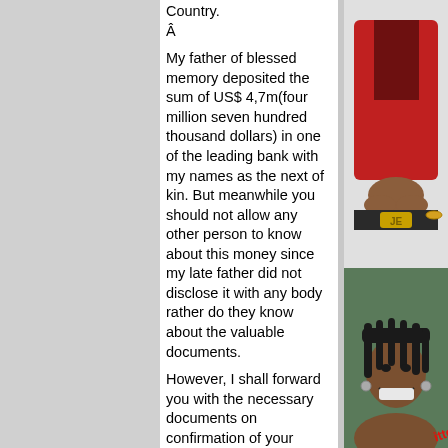Country.
Â
My father of blessed memory deposited the sum of US$ 4,7m(four million seven hundred thousand dollars) in one of the leading bank with my names as the next of kin. But meanwhile you should not allow any other person to know about this money since my late father did not disclose it with any body rather do they know about the valuable documents.

However, I shall forward you with the necessary documents on confirmation of your acceptance to assist me for the transfer of the money to your account, and investment of the fund. As you will help me in an investment
[Figure (photo): Photo of a person wearing a red patterned top with a gold belt buckle, hands folded.]
[Figure (photo): Profile photo of a smiling young woman with dreadlocks, with a red watermark overlay reading 'ittenus.c']
[Figure (photo): Small avatar silhouette of a person's head profile in dark color, in the left sidebar.]